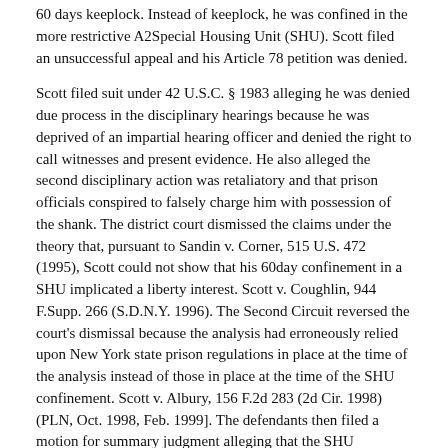60 days keeplock. Instead of keeplock, he was confined in the more restrictive A2Special Housing Unit (SHU). Scott filed an unsuccessful appeal and his Article 78 petition was denied.
Scott filed suit under 42 U.S.C. § 1983 alleging he was denied due process in the disciplinary hearings because he was deprived of an impartial hearing officer and denied the right to call witnesses and present evidence. He also alleged the second disciplinary action was retaliatory and that prison officials conspired to falsely charge him with possession of the shank. The district court dismissed the claims under the theory that, pursuant to Sandin v. Corner, 515 U.S. 472 (1995), Scott could not show that his 60day confinement in a SHU implicated a liberty interest. Scott v. Coughlin, 944 F.Supp. 266 (S.D.N.Y. 1996). The Second Circuit reversed the court's dismissal because the analysis had erroneously relied upon New York state prison regulations in place at the time of the analysis instead of those in place at the time of the SHU confinement. Scott v. Albury, 156 F.2d 283 (2d Cir. 1998) (PLN, Oct. 1998, Feb. 1999]. The defendants then filed a motion for summary judgment alleging that the SHU confinement did not implicate a liberty interest, that Coughlin, the commissioner of the prison system, was not personally involved in the actions leading to the suit, and that the defendants were entitled to qualified immunity because they did not violate any clearly established laws of which they reasonably should know.